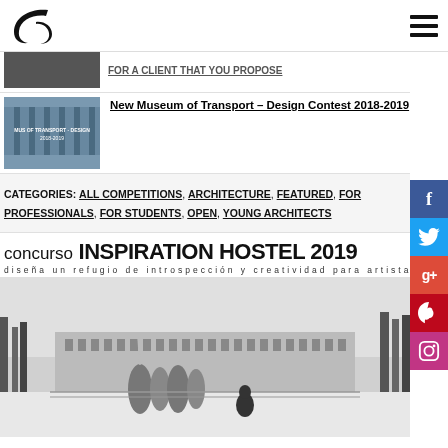Architecture competitions website header with logo and hamburger menu
FOR A CLIENT THAT YOU PROPOSE
New Museum of Transport – Design Contest 2018-2019
CATEGORIES: ALL COMPETITIONS, ARCHITECTURE, FEATURED, FOR PROFESSIONALS, FOR STUDENTS, OPEN, YOUNG ARCHITECTS
concurso INSPIRATION HOSTEL 2019 diseña un refugio de introspección y creatividad para artistas
[Figure (photo): Snowy winter landscape with a hostel building and figure walking in foreground, black and white architectural render]